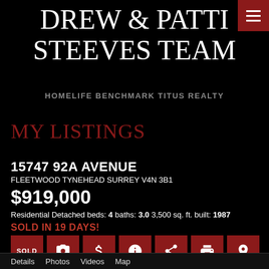DREW & PATTI STEEVES TEAM
HOMELIFE BENCHMARK TITUS REALTY
MY LISTINGS
15747 92A AVENUE
FLEETWOOD TYNEHEAD SURREY V4N 3B1
$919,000
Residential Detached beds: 4 baths: 3.0 3,500 sq. ft. built: 1987
SOLD IN 19 DAYS!
SOLD | camera | $ | info | share | print | map
Details  Photos  Videos  Map